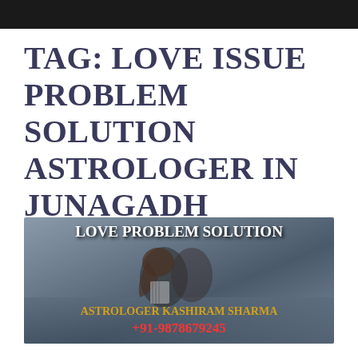TAG: LOVE ISSUE PROBLEM SOLUTION ASTROLOGER IN JUNAGADH
[Figure (photo): Love Problem Solution banner image showing a couple embracing with text 'LOVE PROBLEM SOLUTION' at the top, 'ASTROLOGER KASHIRAM SHARMA' in gold, and '+91-9878679245' in red at the bottom]
Love Issue Problem Solution Astrologer